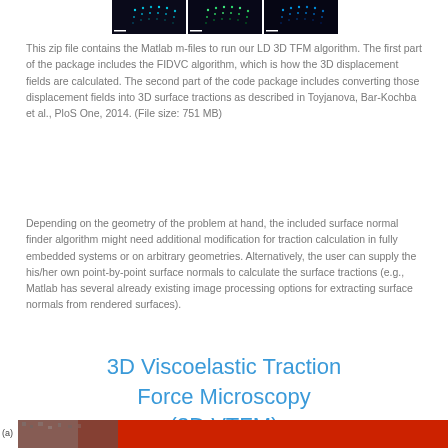[Figure (screenshot): Three microscopy images side by side at top of page showing fluorescent bead displacement fields in dark blue/teal/green colors]
This zip file contains the Matlab m-files to run our LD 3D TFM algorithm. The first part of the package includes the FIDVC algorithm, which is how the 3D displacement fields are calculated. The second part of the code package includes converting those displacement fields into 3D surface tractions as described in Toyjanova, Bar-Kochba et al., PloS One, 2014. (File size: 751 MB)
Depending on the geometry of the problem at hand, the included surface normal finder algorithm might need additional modification for traction calculation in fully embedded systems or on arbitrary geometries. Alternatively, the user can supply the his/her own point-by-point surface normals to calculate the surface tractions (e.g., Matlab has several already existing image processing options for extracting surface normals from rendered surfaces).
3D Viscoelastic Traction Force Microscopy (3D VTFM)
[Figure (photo): Partial microscopy image visible at bottom of page with label (a)]